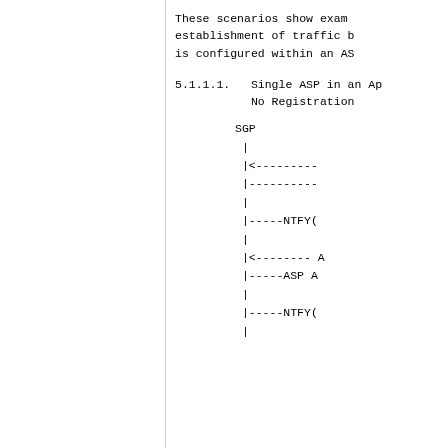These scenarios show examples of the establishment of traffic b... is configured within an AS...
5.1.1.1.  Single ASP in an Ap... No Registration
[Figure (flowchart): Protocol message flow diagram showing SGP with vertical bar and dashed arrows indicating NTFY, ASP messages]